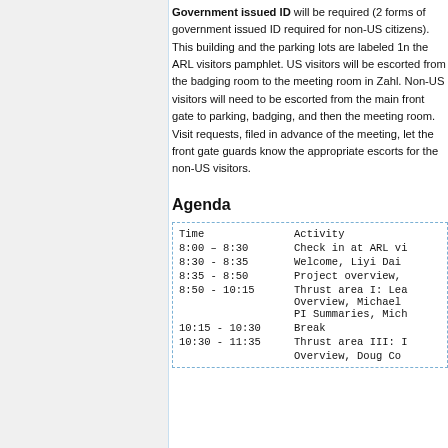Government issued ID will be required (2 forms of government issued ID required for non-US citizens). This building and the parking lots are labeled 1n the ARL visitors pamphlet. US visitors will be escorted from the badging room to the meeting room in Zahl. Non-US visitors will need to be escorted from the main front gate to parking, badging, and then the meeting room. Visit requests, filed in advance of the meeting, let the front gate guards know the appropriate escorts for the non-US visitors.
Agenda
| Time | Activity |
| --- | --- |
| 8:00 – 8:30 | Check in at ARL vi... |
| 8:30 - 8:35 | Welcome, Liyi Dai... |
| 8:35 - 8:50 | Project overview,... |
| 8:50 - 10:15 | Thrust area I: Lea... Overview, Michael... PI Summaries, Mich... |
| 10:15 - 10:30 | Break |
| 10:30 - 11:35 | Thrust area III: I... Overview, Doug Co... |